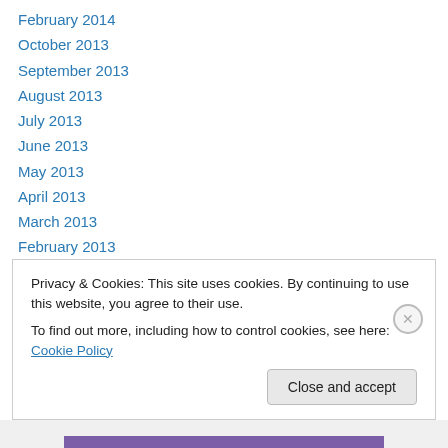February 2014
October 2013
September 2013
August 2013
July 2013
June 2013
May 2013
April 2013
March 2013
February 2013
January 2013
December 2012
November 2012
Privacy & Cookies: This site uses cookies. By continuing to use this website, you agree to their use.
To find out more, including how to control cookies, see here: Cookie Policy